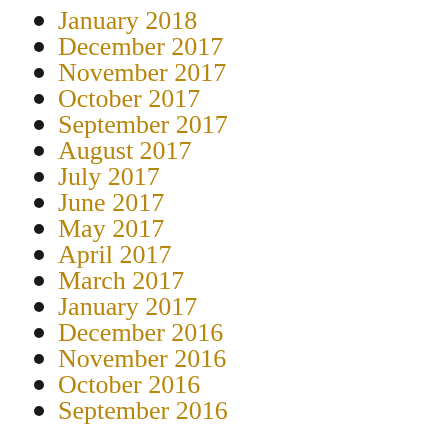January 2018
December 2017
November 2017
October 2017
September 2017
August 2017
July 2017
June 2017
May 2017
April 2017
March 2017
January 2017
December 2016
November 2016
October 2016
September 2016